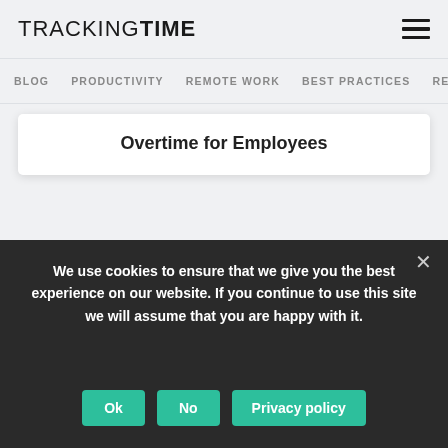TRACKINGTIME
BLOG   PRODUCTIVITY   REMOTE WORK   BEST PRACTICES   RE
Overtime for Employees
[Figure (screenshot): Red banner background with a circular checkmark icon and a diagonal line/arrow graphic]
We use cookies to ensure that we give you the best experience on our website. If you continue to use this site we will assume that you are happy with it.